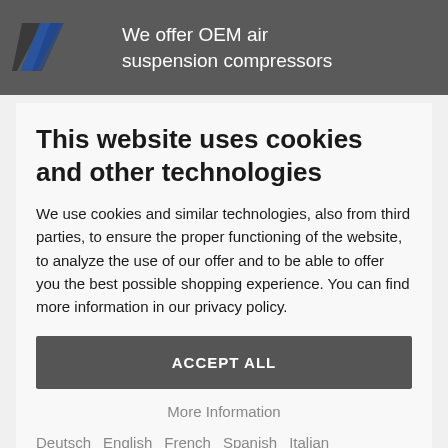We offer OEM air suspension compressors
This website uses cookies and other technologies
We use cookies and similar technologies, also from third parties, to ensure the proper functioning of the website, to analyze the use of our offer and to be able to offer you the best possible shopping experience. You can find more information in our privacy policy.
ACCEPT ALL
More Information
Deutsch   English   French   Spanish   Italian   Privacy Notice   Imprint